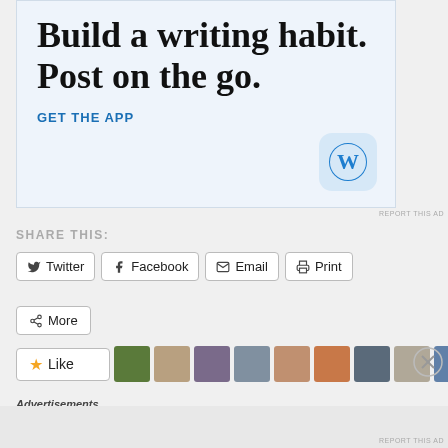[Figure (screenshot): WordPress app advertisement with text 'Build a writing habit. Post on the go.' and 'GET THE APP' call to action with WordPress logo icon]
REPORT THIS AD
SHARE THIS:
Twitter
Facebook
Email
Print
More
[Figure (screenshot): Like button with star icon and row of user avatar thumbnails]
Advertisements
REPORT THIS AD